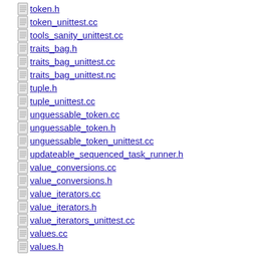token.h
token_unittest.cc
tools_sanity_unittest.cc
traits_bag.h
traits_bag_unittest.cc
traits_bag_unittest.nc
tuple.h
tuple_unittest.cc
unguessable_token.cc
unguessable_token.h
unguessable_token_unittest.cc
updateable_sequenced_task_runner.h
value_conversions.cc
value_conversions.h
value_iterators.cc
value_iterators.h
value_iterators_unittest.cc
values.cc
values.h